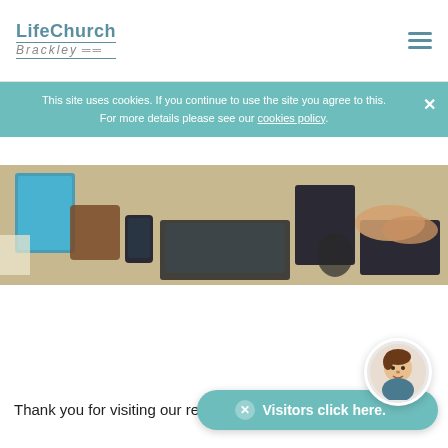LifeChurch Brackley
This site uses cookies. If you continue to use the site you agree to this. For more details please see our cookies policy.
[Figure (photo): Overhead view of a desk with laptops, notebooks, a phone, and hands typing]
Thank you for visiting our resou...